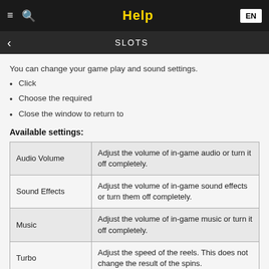Help
SLOTS
You can change your game play and sound settings.
Click
Choose the required
Close the window to return to
Available settings:
|  |  |
| --- | --- |
| Audio Volume | Adjust the volume of in-game audio or turn it off completely. |
| Sound Effects | Adjust the volume of in-game sound effects or turn them off completely. |
| Music | Adjust the volume of in-game music or turn it off completely. |
| Turbo | Adjust the speed of the reels. This does not change the result of the spins. |